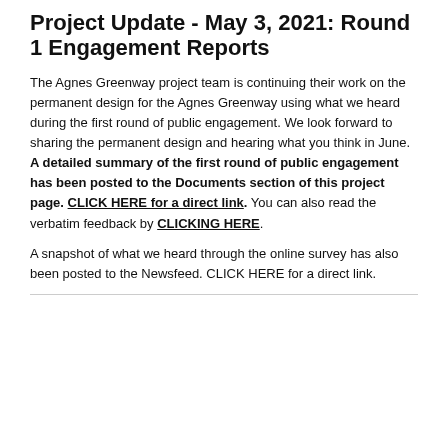Project Update - May 3, 2021: Round 1 Engagement Reports
The Agnes Greenway project team is continuing their work on the permanent design for the Agnes Greenway using what we heard during the first round of public engagement. We look forward to sharing the permanent design and hearing what you think in June. A detailed summary of the first round of public engagement has been posted to the Documents section of this project page. CLICK HERE for a direct link. You can also read the verbatim feedback by CLICKING HERE.
A snapshot of what we heard through the online survey has also been posted to the Newsfeed. CLICK HERE for a direct link.